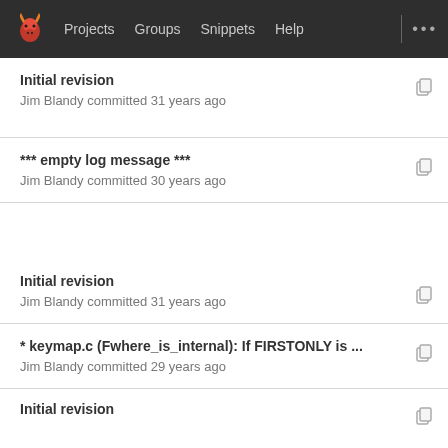Projects  Groups  Snippets  Help  ...
Initial revision
Jim Blandy committed 31 years ago
*** empty log message ***
Jim Blandy committed 30 years ago
Initial revision
Jim Blandy committed 31 years ago
* keymap.c (Fwhere_is_internal): If FIRSTONLY is ...
Jim Blandy committed 29 years ago
Initial revision